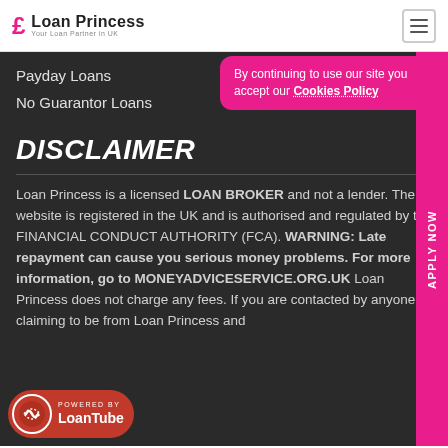Loan Princess — Your Loan Partner in UK
Payday Loans
No Guarantor Loans
By continuing to use our site you accept our Cookies Policy
DISCLAIMER
Loan Princess is a licensed LOAN BROKER and not a lender. The website is registered in the UK and is authorised and regulated by the FINANCIAL CONDUCT AUTHORITY (FCA). WARNING: Late repayment can cause you serious money problems. For more information, go to MONEYADVICESERVICE.ORG.UK Loan Princess does not charge any fees. If you are contacted by anyone claiming to be from Loan Princess and
[Figure (logo): LoanTube powered by badge — red circular logo with spiral icon and LoanTube brand name]